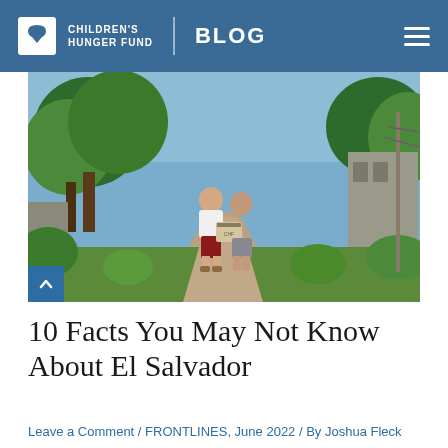Children's Hunger Fund | BLOG
[Figure (photo): Two young children standing on a dirt path surrounded by lush green tropical vegetation, one holding a cardboard box. Rural El Salvador setting.]
10 Facts You May Not Know About El Salvador
Leave a Comment / FRONTLINES, June 2022 / By Joshua Fleck